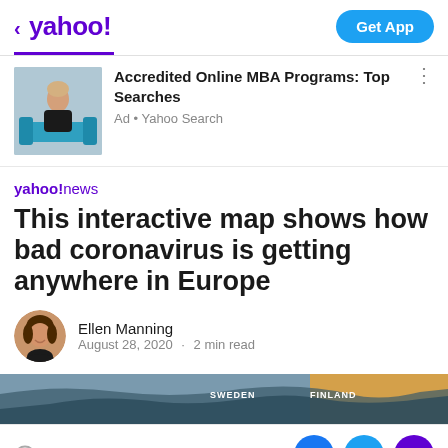< yahoo!  Get App
[Figure (photo): Advertisement: Woman sitting on a blue couch with a laptop. Accredited Online MBA Programs: Top Searches. Ad · Yahoo Search]
Accredited Online MBA Programs: Top Searches
Ad · Yahoo Search
[Figure (logo): yahoo!news logo]
This interactive map shows how bad coronavirus is getting anywhere in Europe
[Figure (photo): Author avatar: Ellen Manning headshot, circular]
Ellen Manning
August 28, 2020 · 2 min read
[Figure (map): Partial map of Europe showing Finland and Sweden labels, used as article header image]
View comments
[Figure (other): Social share buttons: Facebook, Twitter, Email]